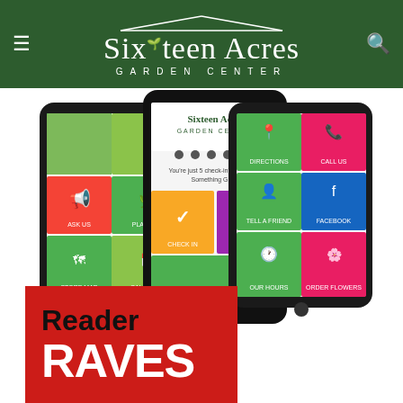Sixteen Acres Garden Center
[Figure (screenshot): Three smartphones displaying the Sixteen Acres Garden Center mobile app interface with colorful tile menus showing options like Directions, Call Us, Tell A Friend, Facebook, Our Hours, Order Flowers, Check In, Rewards, Ask Us, Plant Dr, Store Map, Calendar]
[Figure (illustration): Reader Raves logo/badge — red background with black text 'Reader' and large white bold text 'RAVES']